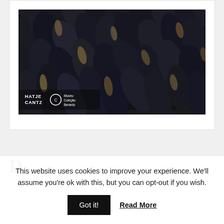[Figure (photo): Close-up photograph of dark blue-black mussels stacked together, with Hatje Cantz and Museu Coleção Berardo logos visible in lower-left corner]
D...
This website uses cookies to improve your experience. We'll assume you're ok with this, but you can opt-out if you wish.
Got it!  Read More